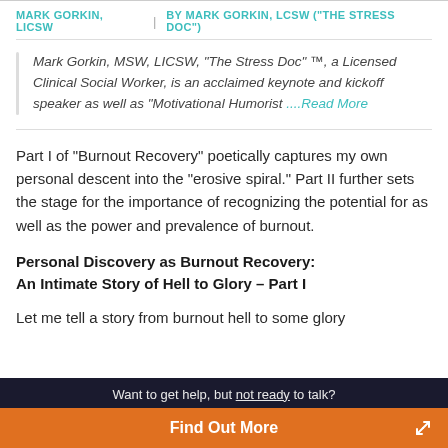MARK GORKIN, LICSW | BY MARK GORKIN, LCSW ("THE STRESS DOC")
Mark Gorkin, MSW, LICSW, "The Stress Doc" ™, a Licensed Clinical Social Worker, is an acclaimed keynote and kickoff speaker as well as "Motivational Humorist ....Read More
Part I of “Burnout Recovery” poetically captures my own personal descent into the “erosive spiral.” Part II further sets the stage for the importance of recognizing the potential for as well as the power and prevalence of burnout.
Personal Discovery as Burnout Recovery:
An Intimate Story of Hell to Glory – Part I
Let me tell a story from burnout hell to some glory
Want to get help, but not ready to talk?
Find Out More